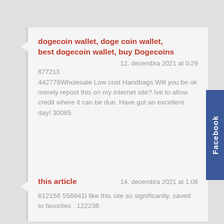dogecoin wallet, doge coin wallet, best dogecoin wallet, buy Dogecoins
12. decembra 2021 at 0:29
677213
442776Wholesale Low cost Handbags Will you be ok merely repost this on my internet site? Ive to allow credit where it can be due. Have got an excellent day! 30065
this article
14. decembra 2021 at 1:08
612156 556841I like this site so significantly, saved to favorites . 122236